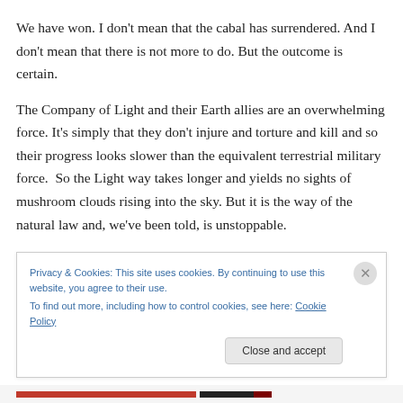We have won. I don’t mean that the cabal has surrendered. And I don’t mean that there is not more to do. But the outcome is certain.
The Company of Light and their Earth allies are an overwhelming force. It’s simply that they don’t injure and torture and kill and so their progress looks slower than the equivalent terrestrial military force.  So the Light way takes longer and yields no sights of mushroom clouds rising into the sky. But it is the way of the natural law and, we’ve been told, is unstoppable.
Privacy & Cookies: This site uses cookies. By continuing to use this website, you agree to their use.
To find out more, including how to control cookies, see here: Cookie Policy
Close and accept